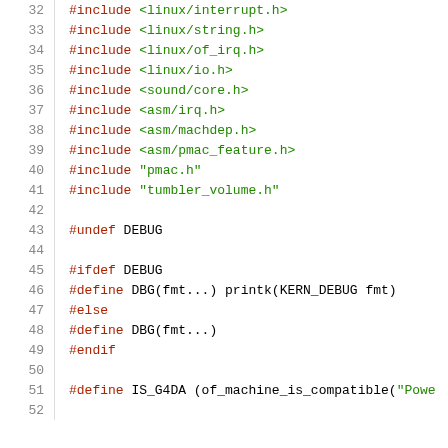Code listing lines 32-52, C source file with #include directives, preprocessor macros #undef DEBUG, #ifdef DEBUG, #define DBG, #else, #endif, and #define IS_G4DA